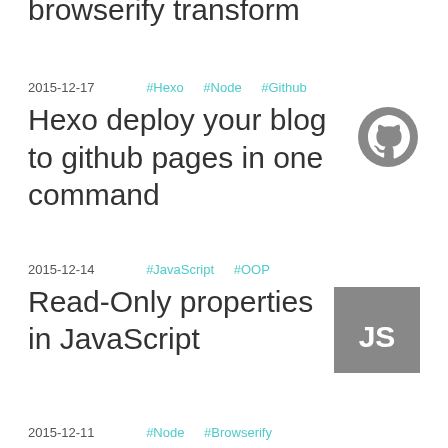browserify transform
2015-12-17   #Hexo  #Node  #Github
Hexo deploy your blog to github pages in one command
[Figure (logo): GitHub Octocat logo, grey circle]
2015-12-14   #JavaScript  #OOP
Read-Only properties in JavaScript
[Figure (logo): JavaScript logo, grey square with JS text in white]
2015-12-11   #Node  #Browserify
Requiring external libraries with